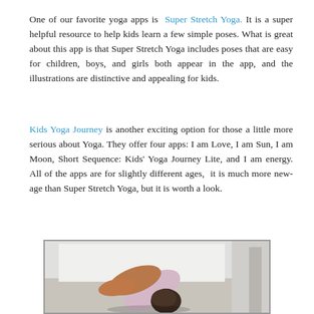One of our favorite yoga apps is Super Stretch Yoga. It is a super helpful resource to help kids learn a few simple poses. What is great about this app is that Super Stretch Yoga includes poses that are easy for children, boys, and girls both appear in the app, and the illustrations are distinctive and appealing for kids.
Kids Yoga Journey is another exciting option for those a little more serious about Yoga. They offer four apps: I am Love, I am Sun, I am Moon, Short Sequence: Kids' Yoga Journey Lite, and I am energy. All of the apps are for slightly different ages,  it is much more new-age than Super Stretch Yoga, but it is worth a look.
[Figure (photo): A child doing a yoga pose, bending forward with head down, wearing a light pink shirt, photographed indoors on a light floor with white walls in the background.]